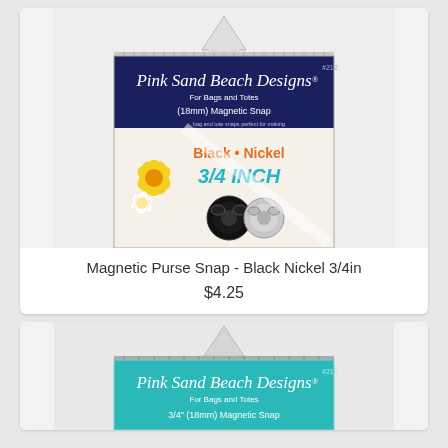[Figure (photo): Product packaging for Pink Sand Beach Designs Magnetic Purse Snap in Black Nickel, 3/4 inch (18mm). Package shows two magnetic snaps, one black and one silver/nickel colored, with floral background decoration.]
Magnetic Purse Snap - Black Nickel 3/4in
$4.25
[Figure (photo): Product packaging for Pink Sand Beach Designs Magnetic Purse Snap, teal/turquoise colored packaging, 3/4 inch (18mm) Magnetic Snap. Partially visible at bottom of page.]